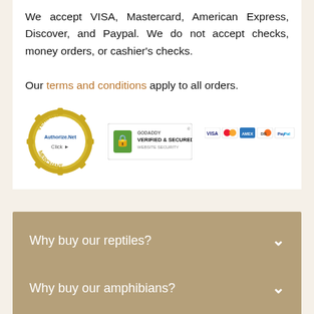We accept VISA, Mastercard, American Express, Discover, and Paypal. We do not accept checks, money orders, or cashier's checks.

Our terms and conditions apply to all orders.
[Figure (logo): Three trust/payment badges: Authorize.Net Verified Merchant seal, GoDaddy Verified & Secured badge, and payment card icons (VISA, Mastercard, Amex, Discover, PayPal)]
Why buy our reptiles?
Why buy our amphibians?
Why buy our reptile feeders?